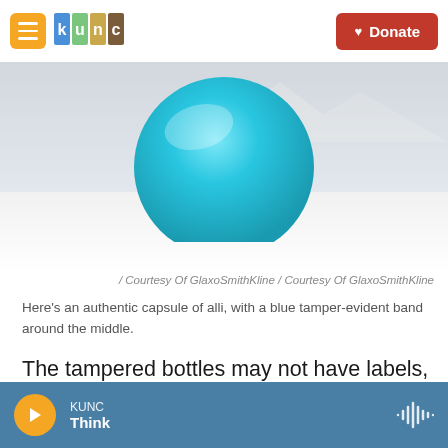KUNC [hamburger menu] [logo] Donate
[Figure (photo): A teal/blue capsule pill (alli) partially visible, showing the top dome portion, on a light background. Appears to be a pharmaceutical capsule with a smooth surface.]
/ Courtesy Of GlaxoSmithKline / Courtesy Of GlaxoSmithKline
Here's an authentic capsule of alli, with a blue tamper-evident band around the middle.
The tampered bottles may not have labels, and the bottles' tamper-evident seal may be missing or not be labeled "Sealed for your Protection."
People should not use the product if they have any
KUNC Think [play button] [audio waveform]